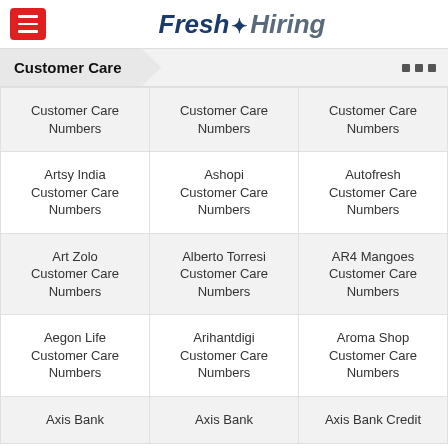Fresh Hiring
Customer Care
| Col1 | Col2 | Col3 |
| --- | --- | --- |
| Customer Care Numbers | Customer Care Numbers | Customer Care Numbers |
| Artsy India Customer Care Numbers | Ashopi Customer Care Numbers | Autofresh Customer Care Numbers |
| Art Zolo Customer Care Numbers | Alberto Torresi Customer Care Numbers | AR4 Mangoes Customer Care Numbers |
| Aegon Life Customer Care Numbers | Arihantdigi Customer Care Numbers | Aroma Shop Customer Care Numbers |
| Axis Bank | Axis Bank | Axis Bank Credit |